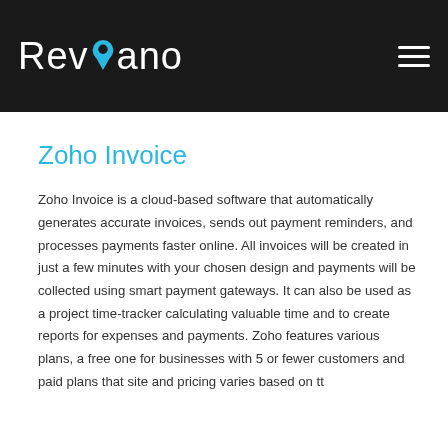Revvano
Zoho Invoice
Zoho Invoice is a cloud-based software that automatically generates accurate invoices, sends out payment reminders, and processes payments faster online. All invoices will be created in just a few minutes with your chosen design and payments will be collected using smart payment gateways. It can also be used as a project time-tracker calculating valuable time and to create reports for expenses and payments. Zoho features various plans, a free one for businesses with 5 or fewer customers and paid plans that site and pricing varies based on tt...